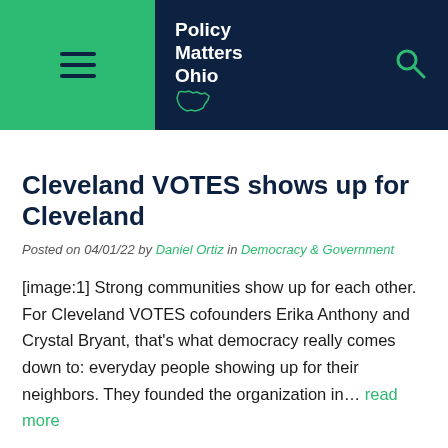[Figure (logo): Policy Matters Ohio website header with hamburger menu on green background, logo text and Ohio state outline on dark navy background, and search icon]
Cleveland VOTES shows up for Cleveland
Posted on 04/01/22 by Daniel Ortiz in Democracy & Government
[image:1] Strong communities show up for each other. For Cleveland VOTES cofounders Erika Anthony and Crystal Bryant, that’s what democracy really comes down to: everyday people showing up for their neighbors. They founded the organization in… read more
Educate, inform, empower: the